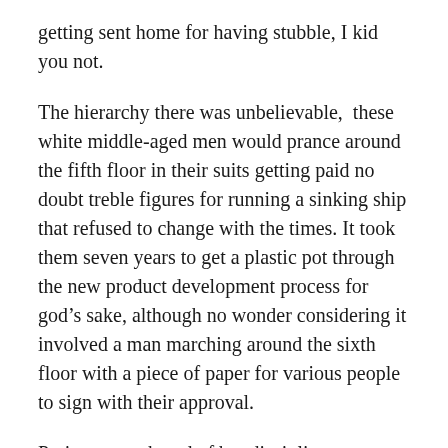getting sent home for having stubble, I kid you not.
The hierarchy there was unbelievable,  these white middle-aged men would prance around the fifth floor in their suits getting paid no doubt treble figures for running a sinking ship that refused to change with the times. It took them seven years to get a plastic pot through the new product development process for god’s sake, although no wonder considering it involved a man marching around the sixth floor with a piece of paper for various people to sign with their approval.
Praise was unheard of but disciplines were often, if you showed even a tiny bit of imagination and you’d be slammed back down to their drab reality with a firm don’t even go there, we’ve tried